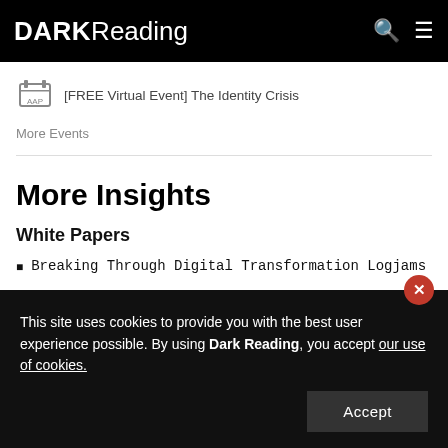DARK Reading
[FREE Virtual Event] The Identity Crisis
More Events
More Insights
White Papers
Breaking Through Digital Transformation Logjams
This site uses cookies to provide you with the best user experience possible. By using Dark Reading, you accept our use of cookies.